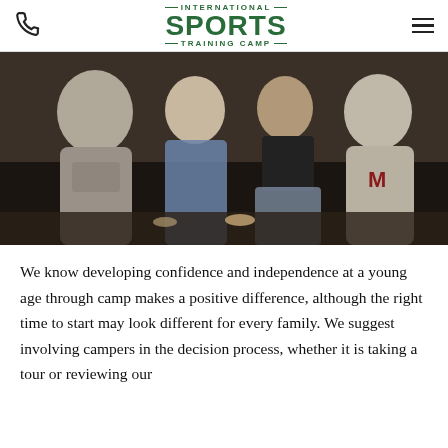International Sports Training Camp
[Figure (photo): Three teenage girls posing together outdoors at night at a sports camp event. One wears a gray International Sports Camp hoodie, one wears a blue floral dress, and one wears a gray sweatshirt with a large M logo (Class of 2021).]
We know developing confidence and independence at a young age through camp makes a positive difference, although the right time to start may look different for every family. We suggest involving campers in the decision process, whether it is taking a tour or reviewing our